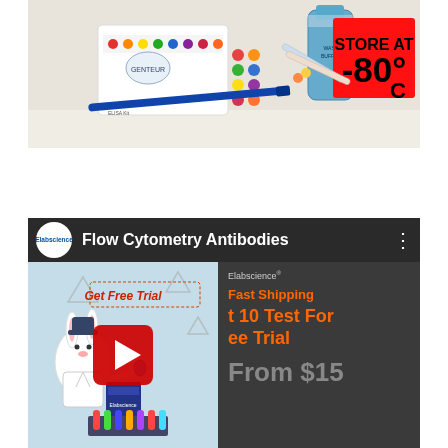[Figure (photo): Laboratory supplies including an ELISA kit box with colorful dot pattern, blue pen, syringes/pipettes, bottles of reagents, and a red label reading 'STORE AT -80°C' on a white surface.]
[Figure (screenshot): YouTube video thumbnail for 'Flow Cytometry Antibodies' by Elabscience. Shows a video player interface with the Elabscience logo (white circle with blue text), the video title in white, and a thumbnail showing a cartoon rabbit scientist with text 'Get Free Trial', a YouTube play button, and an advertisement panel on the right showing 'Elabscience', 'Fast Shipping', 'Get 10 Test For Free Trial', 'From $15'.]